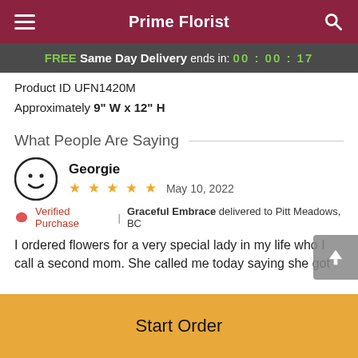Prime Florist
FREE Same Day Delivery ends in: 00:00:17
Product ID UFN1420M
Approximately 9" W x 12" H
What People Are Saying
Georgie
★★★★★  May 10, 2022
❤ Verified Purchase | Graceful Embrace delivered to Pitt Meadows, BC
I ordered flowers for a very special lady in my life who I call a second mom. She called me today saying she got
Start Order